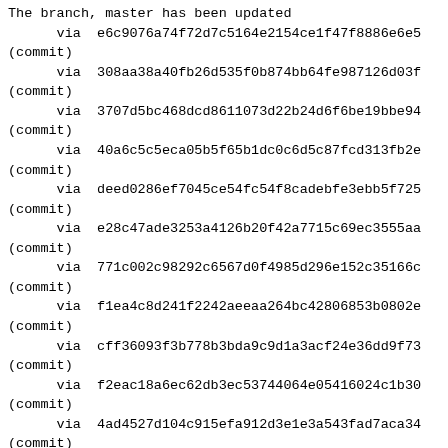The branch, master has been updated
      via  e6c9076a74f72d7c5164e2154ce1f47f8886e6e5
 (commit)
      via  308aa38a40fb26d535f0b874bb64fe987126d03f
 (commit)
      via  3707d5bc468dcd8611073d22b24d6f6be19bbe94
 (commit)
      via  40a6c5c5eca05b5f65b1dc0c6d5c87fcd313fb2e
 (commit)
      via  deed0286ef7045ce54fc54f8cadebfe3ebb5f725
 (commit)
      via  e28c47ade3253a4126b20f42a7715c69ec3555aa
 (commit)
      via  771c002c98292c6567d0f4985d296e152c35166c
 (commit)
      via  f1ea4c8d241f2242aeeaa264bc42806853b0802e
 (commit)
      via  cff36093f3b778b3bda9c9d1a3acf24e36dd9f73
 (commit)
      via  f2eac18a6ec62db3ec53744064e05416024c1b30
 (commit)
      via  4ad4527d104c915efa912d3e1e3a543fad7aca34
 (commit)
      via  96e458b705eda4ddff7d6ec890cf1daf898e9186
 (commit)
      via  8a58648471e3a5311529955cd91c1a082be10056
 (commit)
      via  a5b6a75787be01fc2a030b68eeaba07bc26db469
 (commit)
      via  159e1b06a50c7e80171d88933698f107a7f5773a
 (commit)